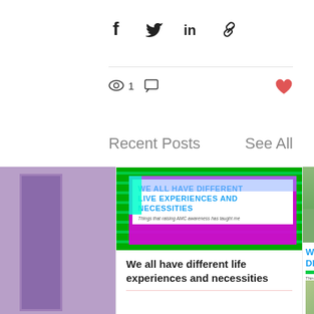[Figure (infographic): Social share icons: Facebook (f), Twitter bird, LinkedIn (in), and link/chain icon]
[Figure (infographic): View count icon (eye) with number 1, comment icon, and a red heart/like icon on the right]
Recent Posts
See All
[Figure (photo): Partial purple card on the left edge]
[Figure (infographic): Blog post card with striped green background, magenta/cyan bordered white box containing text: WE ALL HAVE DIFFERENT LIVE EXPERIENCES AND NECESSITIES, subtitle: Things that raising AMC awareness has taught me]
We all have different life experiences and necessities
[Figure (photo): Partial right card showing blue bold text W, DI and green stripe, Things label, and a green photo area]